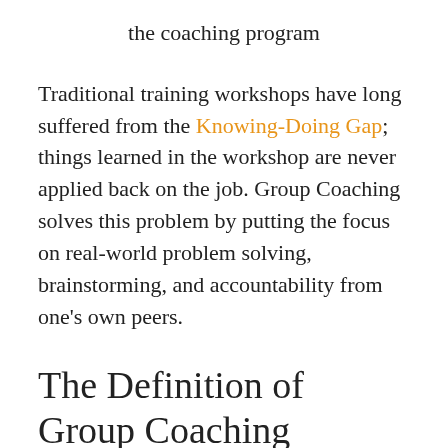the coaching program
Traditional training workshops have long suffered from the Knowing-Doing Gap; things learned in the workshop are never applied back on the job. Group Coaching solves this problem by putting the focus on real-world problem solving, brainstorming, and accountability from one’s own peers.
The Definition of Group Coaching
What is Group Coaching? Also known as “Peer Group Coaching,” it’s a method where one